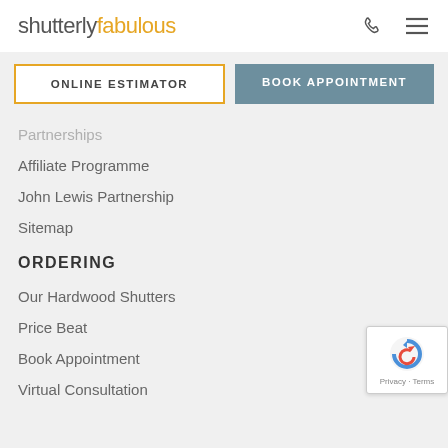shutterly fabulous
ONLINE ESTIMATOR
BOOK APPOINTMENT
Affiliate Programme
John Lewis Partnership
Sitemap
ORDERING
Our Hardwood Shutters
Price Beat
Book Appointment
Virtual Consultation